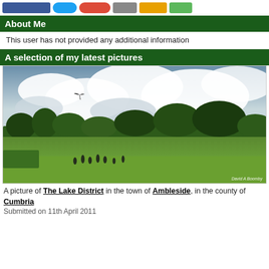[Figure (other): Social media sharing buttons: Facebook (blue), Twitter (light blue rounded), Google+ (red rounded), Email (grey), YouTube (yellow/orange), Green button]
About Me
This user has not provided any additional information
A selection of my latest pictures
[Figure (photo): A photograph of The Lake District in the town of Ambleside, Cumbria. A green park with people walking, trees, and a dramatic cloudy sky with a bird in flight. Credit: David A Boomby]
A picture of The Lake District in the town of Ambleside, in the county of Cumbria
Submitted on 11th April 2011